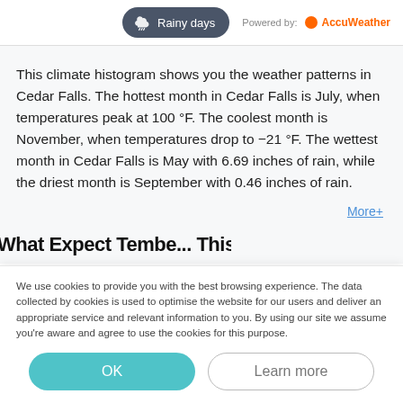[Figure (other): Rainy days button with cloud/rain icon, and 'Powered by: AccuWeather' branding on the right]
This climate histogram shows you the weather patterns in Cedar Falls. The hottest month in Cedar Falls is July, when temperatures peak at 100 °F. The coolest month is November, when temperatures drop to -21 °F. The wettest month in Cedar Falls is May with 6.69 inches of rain, while the driest month is September with 0.46 inches of rain.
More+
What Expect Tembe... This!
We use cookies to provide you with the best browsing experience. The data collected by cookies is used to optimise the website for our users and deliver an appropriate service and relevant information to you. By using our site we assume you're aware and agree to use the cookies for this purpose.
OK
Learn more